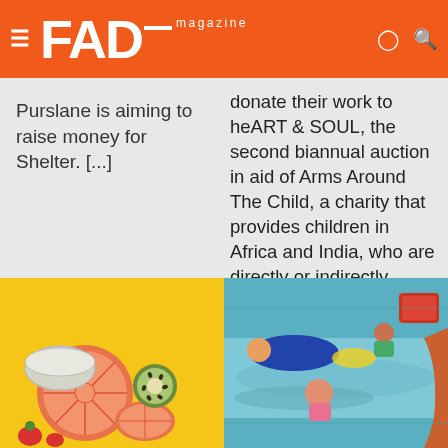FAD magazine
blue' presented by Thicket, an collecting platform, Purslane is aiming to raise money for Shelter. [...]
artists from around the globe will donate their work to heART & SOUL, the second biannual auction in aid of Arms Around The Child, a charity that provides children in Africa and India, who are directly or indirectly affected by HIV/AIDS, orphaned, abandoned or abused, with much-needed homes, safety, education, healthcare and community.
[Figure (photo): Photo of fruits including grapefruit halves, kiwi, and a bowl on a yellow background]
[Figure (photo): Photo of people at a pool or water park, colorful scene with figures in swimwear]